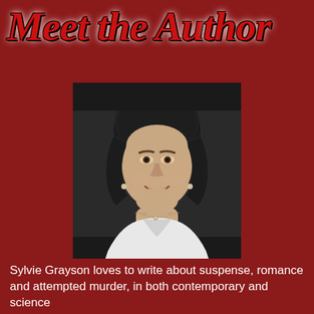Meet the Author
[Figure (photo): Black and white portrait photo of Sylvie Grayson, a smiling woman with short dark hair wearing a white jacket, resting her chin on her hand. Small watermark reads: © 2015 Nicole Guzmo Photography]
Sylvie Grayson loves to write about suspense, romance and attempted murder, in both contemporary and science